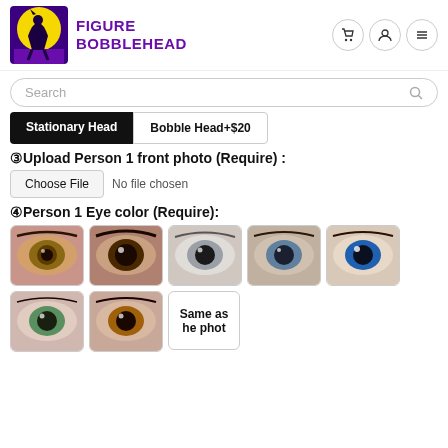Figure Bobblehead
Search
Stationary Head | Bobble Head+$20
③Upload Person 1 front photo (Require) :
Choose File  No file chosen
④Person 1 Eye color (Require):
[Figure (illustration): Grid of 7 eye color swatches: brown/hazel, dark brown, grey, blue-grey, bright blue, green, amber/hazel, and a 'Same as the photo' option]
Same as the photo